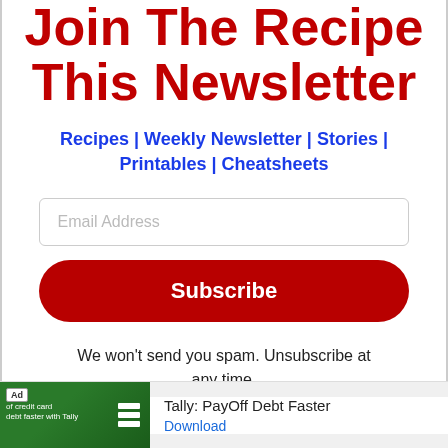Join The Recipe This Newsletter
Recipes | Weekly Newsletter | Stories | Printables | Cheatsheets
[Figure (other): Email address input field placeholder]
[Figure (other): Subscribe button]
We won't send you spam. Unsubscribe at any time.
[Figure (other): Advertisement banner: Tally PayOff Debt Faster with Download link]